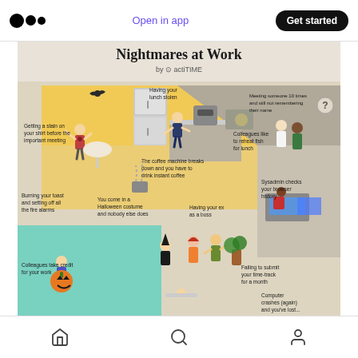Open in app | Get started
[Figure (infographic): Nightmares at Work infographic by actiTIME. Illustrated office scene showing various workplace nightmare scenarios: Getting a stain on your shirt before the important meeting, Having your lunch stolen, Meeting someone 10 times and still not remembering their name, Colleagues like to reheat fish for lunch, The coffee machine breaks down and you have to drink instant coffee, Burning your toast and setting off all the fire alarms, You come in a Halloween costume and nobody else does, Having your ex as a boss, Sysadmin checks your browser history, Failing to submit your time-track for a month, Colleagues take credit for your work, Computer crashes (again) and you've lost...]
Home | Search | Profile